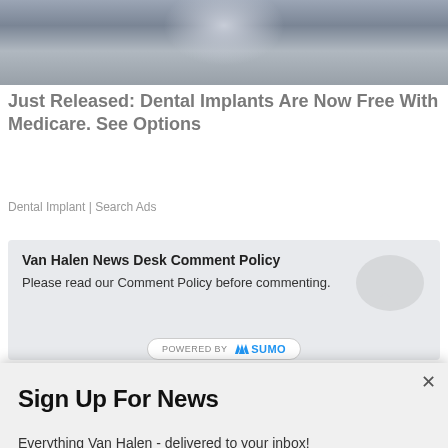[Figure (photo): Partial photo of a person wearing a grey shirt, torso visible, with a blurred background]
Just Released: Dental Implants Are Now Free With Medicare. See Options
Dental Implant | Search Ads
Van Halen News Desk Comment Policy
Please read our Comment Policy before commenting.
POWERED BY SUMO
Sign Up For News
Everything Van Halen - delivered to your inbox!
Enter your email address
SIGN ME UP!